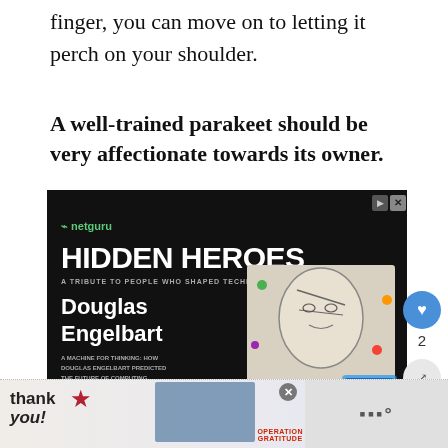finger, you can move on to letting it perch on your shoulder.
A well-trained parakeet should be very affectionate towards its owner.
[Figure (infographic): Netguru advertisement for 'Hidden Heroes: A Tribute to People Who Shaped Technology' featuring Douglas Engelbart with subtitle 'A Machine for Thinking: How Douglas Engelbart Predicted the Future of Computing' and a Read his story button.]
[Figure (infographic): Operation Gratitude banner advertisement showing 'Thank you!' text with American flag motif and group photo of military/fire personnel.]
WHAT'S NEXT → Can a Rabbit Eat Pumpkin